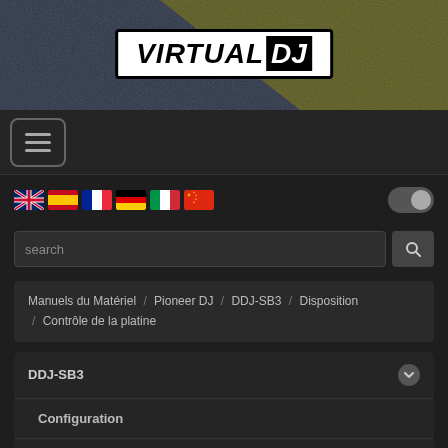[Figure (logo): VirtualDJ logo in white box with black border on textured blue/yellow grunge background]
[Figure (other): Hamburger menu button (three horizontal lines) in a rounded rectangle border]
[Figure (other): Row of six country flags (UK, Spain, France, Germany, Italy, China) and a toggle switch on the right]
[Figure (other): Search input field with magnifying glass button]
Manuels du Matériel / Pioneer DJ / DDJ-SB3 / Disposition / Contrôle de la platine
DDJ-SB3
Configuration
Disposition
Mixeur & Navigateur